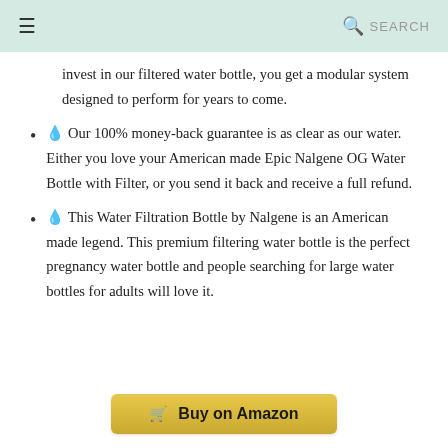≡  🔍 SEARCH
invest in our filtered water bottle, you get a modular system designed to perform for years to come.
💧 Our 100% money-back guarantee is as clear as our water. Either you love your American made Epic Nalgene OG Water Bottle with Filter, or you send it back and receive a full refund.
💧 This Water Filtration Bottle by Nalgene is an American made legend. This premium filtering water bottle is the perfect pregnancy water bottle and people searching for large water bottles for adults will love it.
🛒 Buy on Amazon